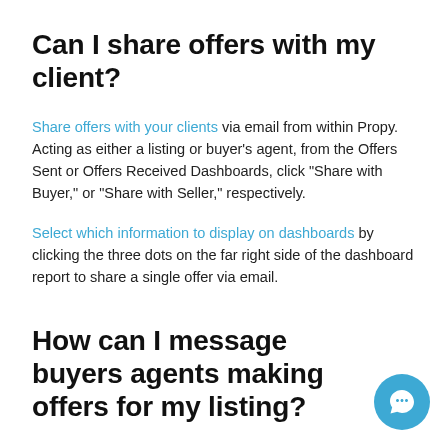Can I share offers with my client?
Share offers with your clients via email from within Propy. Acting as either a listing or buyer’s agent, from the Offers Sent or Offers Received Dashboards, click “Share with Buyer,” or “Share with Seller,” respectively.
Select which information to display on dashboards by clicking the three dots on the far right side of the dashboard report to share a single offer via email.
How can I message buyers agents making offers for my listing?